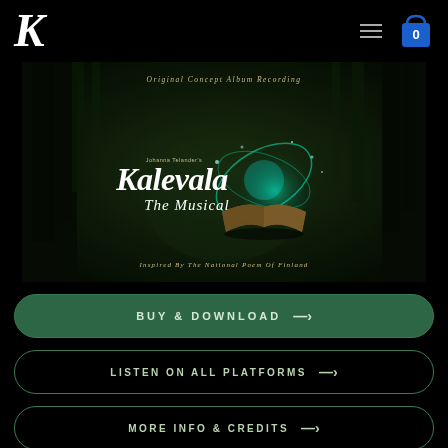Kalevala The Musical - website header with logo K, hamburger menu, and shopping bag icon
[Figure (illustration): Album cover for 'Kalevala The Musical' - Original Concept Album Recording by Johanna Telander. Dark forest scene with mystical glowing orb/portal and open book. Text: 'Original Concept Album Recording', 'Johanna Telander's Kalevala The Musical', 'Inspired By The National Poem Of Finland']
BUY & DOWNLOAD →
LISTEN ON ALL PLATFORMS →
MORE INFO & CREDITS →